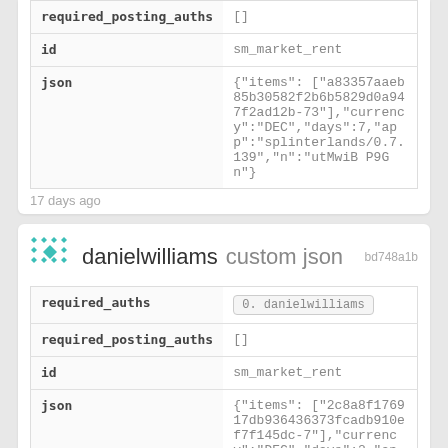| field | value |
| --- | --- |
| required_posting_auths | [] |
| id | sm_market_rent |
| json | {"items": ["a83357aaeb85b30582f2b6b5829d0a947f2ad12b-73"],"currency":"DEC","days":7,"app":"splinterlands/0.7.139","n":"utMwiB P9Gn"} |
17 days ago
bd748a1b
danielwilliams custom json
| field | value |
| --- | --- |
| required_auths | 0. danielwilliams |
| required_posting_auths | [] |
| id | sm_market_rent |
| json | {"items": ["2c8a8f176917db936436373fcadb910ef7f145dc-7"],"currency":"DEC","days":2,"app":"splinterlands/0.7.139","n":"X1nXX01m7U"} |
17 days ago
ffadc916
danielwilliams custom json